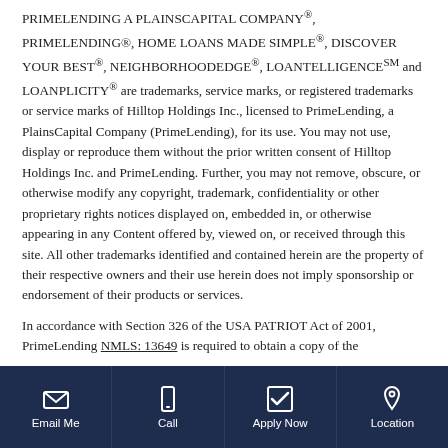PRIMELENDING A PLAINSCAPITAL COMPANY®, PRIMELENDING®, HOME LOANS MADE SIMPLE®, DISCOVER YOUR BEST®, NEIGHBORHOODEDGE®, LOANTELLIGENCE℠ and LOANPLICITY® are trademarks, service marks, or registered trademarks or service marks of Hilltop Holdings Inc., licensed to PrimeLending, a PlainsCapital Company (PrimeLending), for its use. You may not use, display or reproduce them without the prior written consent of Hilltop Holdings Inc. and PrimeLending. Further, you may not remove, obscure, or otherwise modify any copyright, trademark, confidentiality or other proprietary rights notices displayed on, embedded in, or otherwise appearing in any Content offered by, viewed on, or received through this site. All other trademarks identified and contained herein are the property of their respective owners and their use herein does not imply sponsorship or endorsement of their products or services.
In accordance with Section 326 of the USA PATRIOT Act of 2001, PrimeLending NMLS: 13649 is required to obtain a copy of the
Email Me | Call | Apply Now | Location